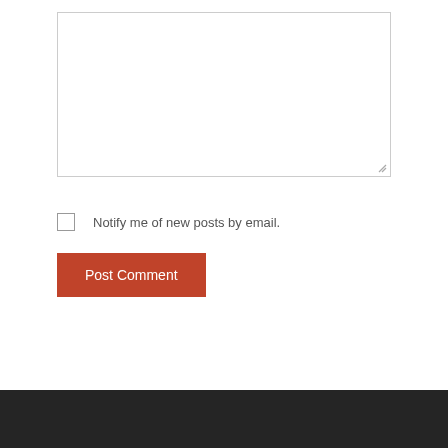[Figure (screenshot): A text area input box for comment entry, with a resize handle in the bottom-right corner. The box has a light gray border on a white background.]
Notify me of new posts by email.
Post Comment